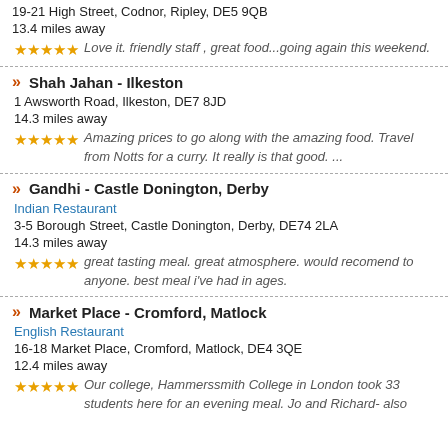19-21 High Street, Codnor, Ripley, DE5 9QB
13.4 miles away
Love it. friendly staff , great food...going again this weekend.
Shah Jahan - Ilkeston
1 Awsworth Road, Ilkeston, DE7 8JD
14.3 miles away
Amazing prices to go along with the amazing food. Travel from Notts for a curry. It really is that good. ...
Gandhi - Castle Donington, Derby
Indian Restaurant
3-5 Borough Street, Castle Donington, Derby, DE74 2LA
14.3 miles away
great tasting meal. great atmosphere. would recomend to anyone. best meal i've had in ages.
Market Place - Cromford, Matlock
English Restaurant
16-18 Market Place, Cromford, Matlock, DE4 3QE
12.4 miles away
Our college, Hammerssmith College in London took 33 students here for an evening meal. Jo and Richard- also